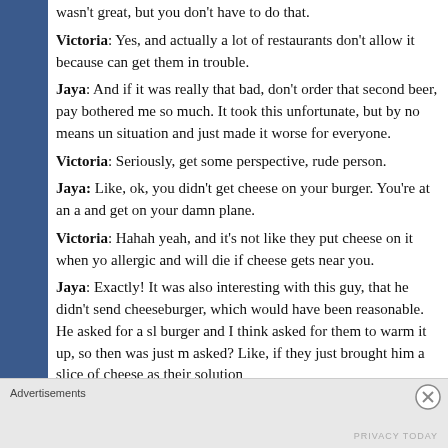wasn't great, but you don't have to do that.
Victoria: Yes, and actually a lot of restaurants don't allow it because can get them in trouble.
Jaya: And if it was really that bad, don't order that second beer, pay bothered me so much. It took this unfortunate, but by no means un situation and just made it worse for everyone.
Victoria: Seriously, get some perspective, rude person.
Jaya: Like, ok, you didn't get cheese on your burger. You're at an a and get on your damn plane.
Victoria: Hahah yeah, and it's not like they put cheese on it when yo allergic and will die if cheese gets near you.
Jaya: Exactly! It was also interesting with this guy, that he didn't send cheeseburger, which would have been reasonable. He asked for a sl burger and I think asked for them to warm it up, so then was just m asked? Like, if they just brought him a slice of cheese as their solution
Advertisements